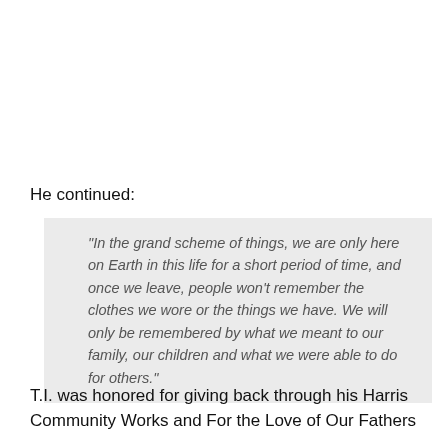He continued:
"In the grand scheme of things, we are only here on Earth in this life for a short period of time, and once we leave, people won't remember the clothes we wore or the things we have. We will only be remembered by what we meant to our family, our children and what we were able to do for others."
T.I. was honored for giving back through his Harris Community Works and For the Love of Our Fathers